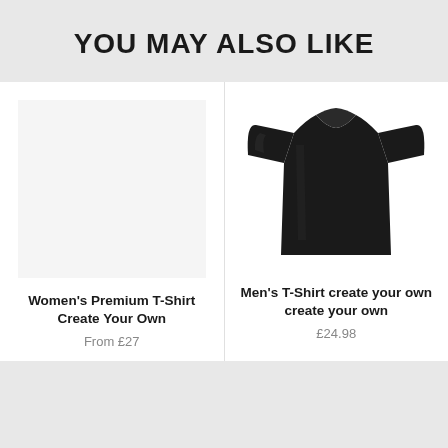YOU MAY ALSO LIKE
[Figure (photo): Women's Premium T-Shirt product image placeholder (light gray rectangle)]
Women's Premium T-Shirt Create Your Own
From £27
[Figure (photo): Men's black T-shirt product image]
Men's T-Shirt create your own create your own
£24.98